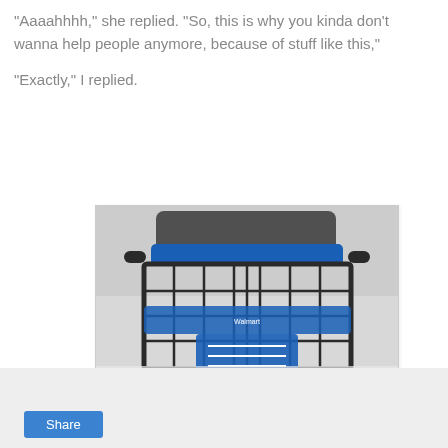"Aaaahhhh," she replied. "So, this is why you kinda don't wanna help people anymore, because of stuff like this,"
"Exactly," I replied.
[Figure (photo): Close-up front view of a Walmart shopping cart with blue handle bar and blue child seat, seen from a low angle in a snowy parking lot. The cart's metal wire basket is visible with snow-covered ground in the background.]
Share